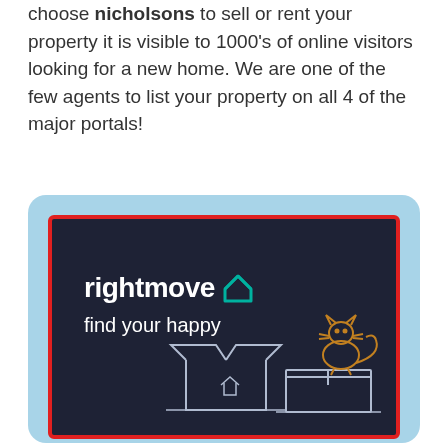choose nicholsons to sell or rent your property it is visible to 1000's of online visitors looking for a new home. We are one of the few agents to list your property on all 4 of the major portals!
[Figure (logo): Rightmove advertisement banner inside a light blue rounded rectangle frame. Dark navy background with red border. Shows 'rightmove' logo in white bold text with a teal house icon, tagline 'find your happy', and an illustration of open boxes with a cat outline on the right side.]